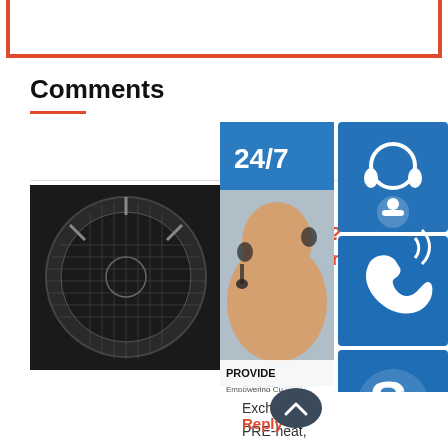[Figure (other): Red border decorative frame at top of page]
Comments
[Figure (photo): Close-up photo of a circular industrial heat exchanger plate with mesh/grid pattern on dark background]
Air? Preheater? Exchanger With Plate
Air-to-Air In-Line Wave Plate Heat Exchangers PRE-heat, Inc.Sep 30, 2019 · The ILW ...
Reply
[Figure (infographic): Customer support sidebar widget showing 24/7 text, headset icon, phone icon, Skype icon, customer service agent photo, PROVIDE branding, and online live chat button]